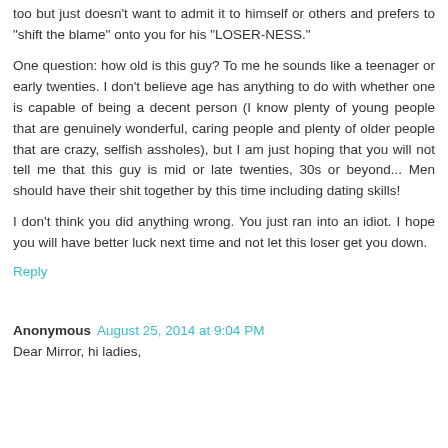too but just doesn't want to admit it to himself or others and prefers to "shift the blame" onto you for his "LOSER-NESS."
One question: how old is this guy? To me he sounds like a teenager or early twenties. I don't believe age has anything to do with whether one is capable of being a decent person (I know plenty of young people that are genuinely wonderful, caring people and plenty of older people that are crazy, selfish assholes), but I am just hoping that you will not tell me that this guy is mid or late twenties, 30s or beyond... Men should have their shit together by this time including dating skills!
I don't think you did anything wrong. You just ran into an idiot. I hope you will have better luck next time and not let this loser get you down.
Reply
Anonymous August 25, 2014 at 9:04 PM
Dear Mirror, hi ladies,